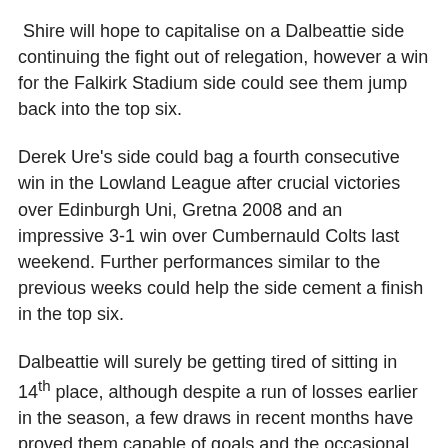Shire will hope to capitalise on a Dalbeattie side continuing the fight out of relegation, however a win for the Falkirk Stadium side could see them jump back into the top six.
Derek Ure's side could bag a fourth consecutive win in the Lowland League after crucial victories over Edinburgh Uni, Gretna 2008 and an impressive 3-1 win over Cumbernauld Colts last weekend. Further performances similar to the previous weeks could help the side cement a finish in the top six.
Dalbeattie will surely be getting tired of sitting in 14th place, although despite a run of losses earlier in the season, a few draws in recent months have proved them capable of goals and the occasional upset. Despite Shire going in as heavy favourites, Star could easily surprise the Falkirk side and leave with a point a piece.